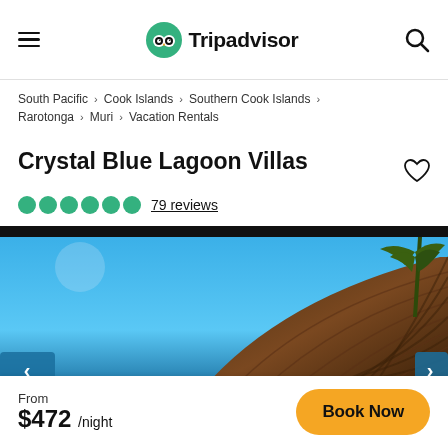Tripadvisor navigation bar with hamburger menu, Tripadvisor logo, and search icon
South Pacific › Cook Islands › Southern Cook Islands › Rarotonga › Muri › Vacation Rentals
Crystal Blue Lagoon Villas
79 reviews
[Figure (photo): Exterior photo of Crystal Blue Lagoon Villas showing a curved thatched/woven roof structure against a blue sky with palm trees]
From $472 /night
Book Now